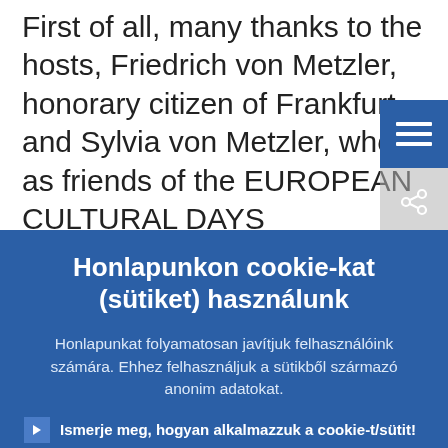First of all, many thanks to the hosts, Friedrich von Metzler, honorary citizen of Frankfurt, and Sylvia von Metzler, who, as friends of the EUROPEAN CULTURAL DAYS
Honlapunkon cookie-kat (sütiket) használunk
Honlapunkat folyamatosan javítjuk felhasználóink számára. Ehhez felhasználjuk a sütikből származó anonim adatokat.
Ismerje meg, hogyan alkalmazzuk a cookie-t/sütit!
Értem, és elfogadom a cookie/süti használatát
Visszautasítom a cookie/süti használatát